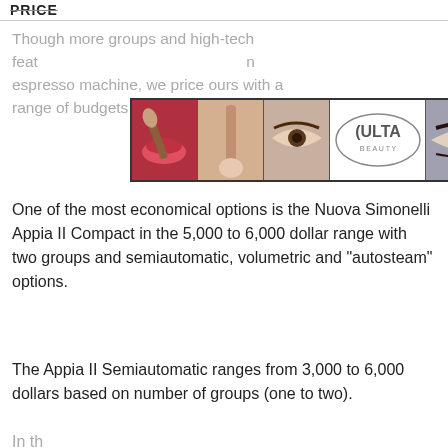PRICE
Though more groups and high-tech features typically raise the price of an espresso machine, we price ours with a range of budgets in mind.
[Figure (photo): Ulta Beauty advertisement banner with makeup imagery (lips, brush, eyes) and SHOP NOW call to action]
One of the most economical options is the Nuova Simonelli Appia II Compact in the 5,000 to 6,000 dollar range with two groups and semiautomatic, volumetric and "autosteam" options.
The Appia II Semiautomatic ranges from 3,000 to 6,000 dollars based on number of groups (one to two).
[Figure (photo): Ulta Beauty advertisement banner (second) with CLOSE button, makeup imagery (lips, brush, eyes) and SHOP NOW call to action]
In th